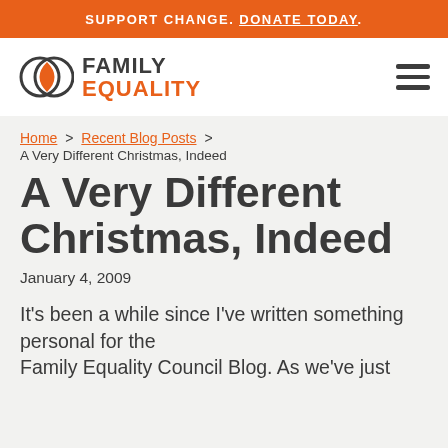SUPPORT CHANGE. DONATE TODAY.
[Figure (logo): Family Equality logo with two overlapping circles (one dark outline, one orange filled) and text FAMILY EQUALITY in dark grey and orange]
Home > Recent Blog Posts > A Very Different Christmas, Indeed
A Very Different Christmas, Indeed
January 4, 2009
It’s been a while since I’ve written something personal for the Family Equality Council Blog. As we’ve just